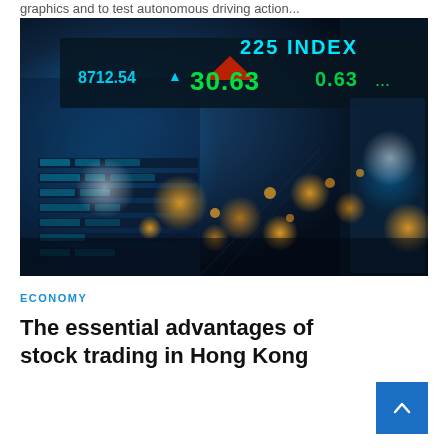graphics and to test autonomous driving action...
[Figure (photo): Stock market trading screen display showing index numbers including '225 INDEX', '30.63', and price ticker data with glowing orange bokeh lights in background, dark blue toned financial district scene]
ECONOMY
The essential advantages of stock trading in Hong Kong